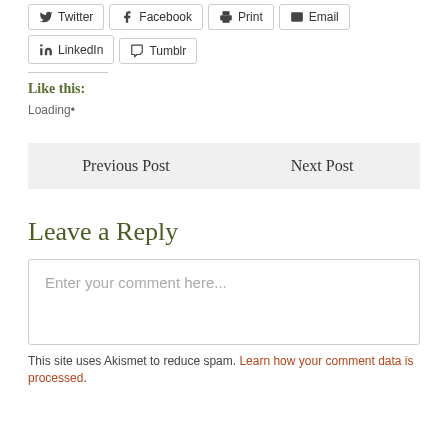Twitter Facebook Print Email LinkedIn Tumblr
Like this:
Loading.
Previous Post
Next Post
Leave a Reply
Enter your comment here...
This site uses Akismet to reduce spam. Learn how your comment data is processed.